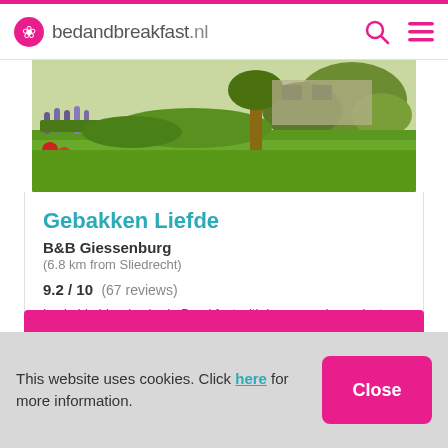bedandbreakfast.nl
[Figure (photo): Outdoor garden photo showing green lawn, flower beds with purple and red flowers, and trees in the background]
Gebakken Liefde
B&B Giessenburg
(6.8 km from Sliedrecht)
9.2 / 10  (67 reviews)
Lockable bicycle shed · Breakfast with home-made products
Show price
This website uses cookies. Click here for more information.
Close